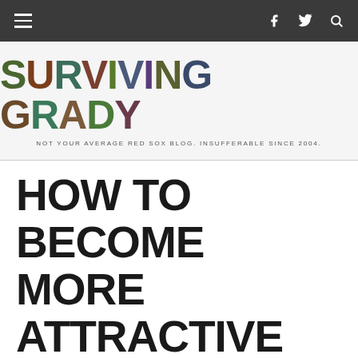Navigation bar with hamburger menu, Facebook, Twitter, and Search icons
[Figure (logo): Surviving Grady logo with colorful text on white background]
NOT YOUR AVERAGE RED SOX BLOG. INSUFFERABLE SINCE 2004.
HOW TO BECOME MORE ATTRACTIVE TO A FUTURE